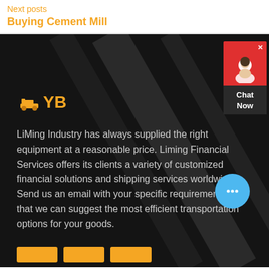Next posts
Buying Cement Mill
[Figure (logo): YB logo with construction equipment icon in orange on dark background]
LiMing Industry has always supplied the right equipment at a reasonable price. Liming Financial Services offers its clients a variety of customized financial solutions and shipping services worldwide. Send us an email with your specific requirements so that we can suggest the most efficient transportation options for your goods.
[Figure (infographic): Chat Now widget with red background and agent icon in top right corner]
[Figure (infographic): Blue chat bubble icon with ellipsis]
[Figure (infographic): Three orange buttons at the bottom of the dark section]